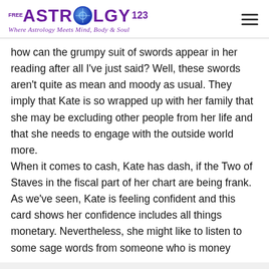FREE ASTROLOGY 123 — Where Astrology Meets Mind, Body & Soul
how can the grumpy suit of swords appear in her reading after all I've just said? Well, these swords aren't quite as mean and moody as usual. They imply that Kate is so wrapped up with her family that she may be excluding other people from her life and that she needs to engage with the outside world more. When it comes to cash, Kate has dash, if the Two of Staves in the fiscal part of her chart are being frank. As we've seen, Kate is feeling confident and this card shows her confidence includes all things monetary. Nevertheless, she might like to listen to some sage words from someone who is money